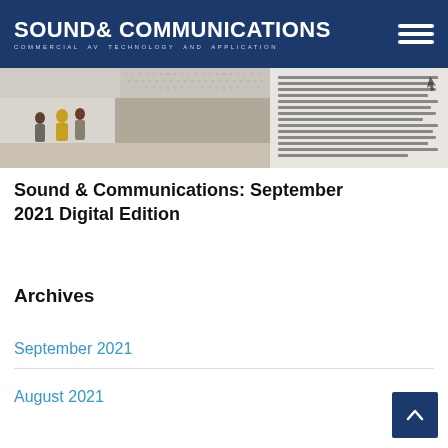SOUND & COMMUNICATIONS — COMMERCIAL AV TECHNOLOGY AND APPLICATION
[Figure (photo): Cover image of the September 2021 issue of Sound & Communications magazine, showing people in a modern interior space with a perforated ceiling panel, alongside a text article column.]
Sound & Communications: September 2021 Digital Edition
Archives
September 2021
August 2021